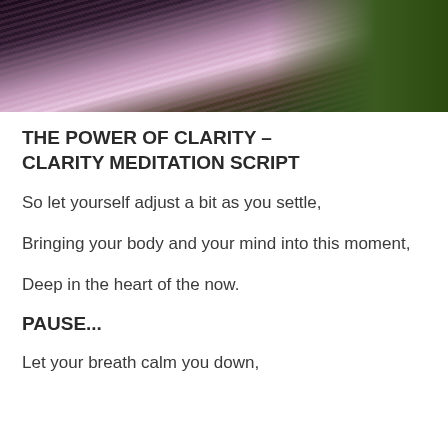[Figure (photo): Forest scene with light rays filtering through dark trees, purple/pink light in the center, green foliage on the right]
THE POWER OF CLARITY – CLARITY MEDITATION SCRIPT
So let yourself adjust a bit as you settle,
Bringing your body and your mind into this moment,
Deep in the heart of the now.
PAUSE...
Let your breath calm you down,